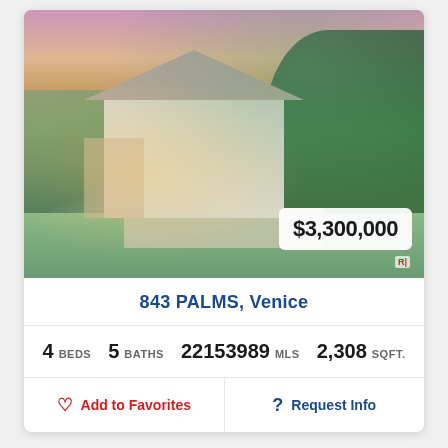[Figure (photo): Exterior photo of a craftsman-style white house with covered porch, stone steps, lush garden and trees at dusk/sunset. Price badge showing $3,300,000 overlaid in bottom right.]
843 PALMS, Venice
4 BEDS  5 BATHS  22153989 MLS  2,308 SQFT.
Add to Favorites
Request Info